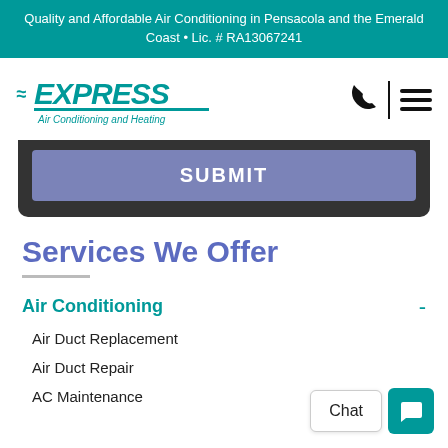Quality and Affordable Air Conditioning in Pensacola and the Emerald Coast • Lic. # RA13067241
[Figure (logo): Express Air Conditioning and Heating logo with teal stylized text and wave marks]
[Figure (screenshot): SUBMIT button in blue-purple on dark background, bottom of a form]
Services We Offer
Air Conditioning
Air Duct Replacement
Air Duct Repair
AC Maintenance
[Figure (screenshot): Chat widget with Chat button and teal chat icon button]